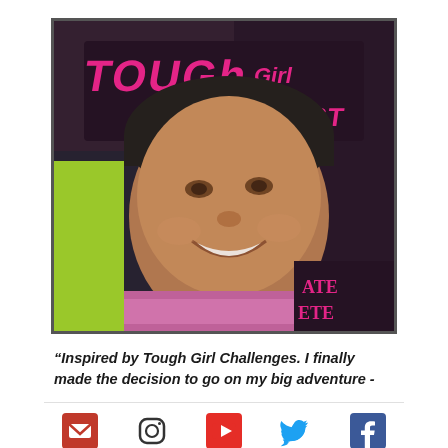[Figure (photo): Close-up photo of a smiling woman wearing a dark beanie hat with 'Tough Girl Podcast' text in pink letters. She is wearing a colorful scarf/buff. The background shows pink and black colors with text visible.]
“Inspired by Tough Girl Challenges. I finally made the decision to go on my big adventure -
[Figure (infographic): Social media icons row: email (envelope, pink/red background), Instagram (rounded square outline), YouTube (red play button square), Twitter (blue bird), Facebook (blue F)]